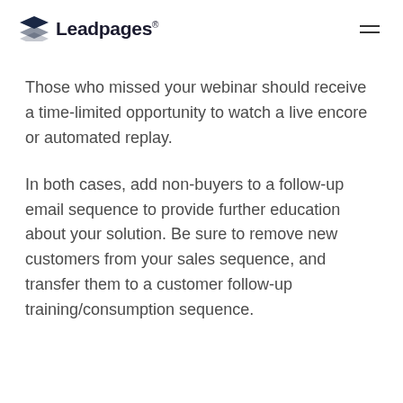Leadpages®
Those who missed your webinar should receive a time-limited opportunity to watch a live encore or automated replay.
In both cases, add non-buyers to a follow-up email sequence to provide further education about your solution. Be sure to remove new customers from your sales sequence, and transfer them to a customer follow-up training/consumption sequence.